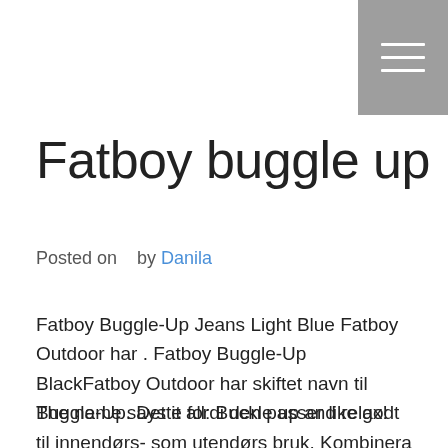Fatboy buggle up
Posted on   by Danila
Fatboy Buggle-Up Jeans Light Blue Fatboy Outdoor har . Fatboy Buggle-Up BlackFatboy Outdoor har skiftet navn til Buggle-Up. Dette fordi den passer like godt til innendørs- som utendørs bruk. Kombinera komfort med utomhuslivsstil, Buggle-up är det perfekta komplementet till din trädgård eller terrass. Finn beste pris og les anmeldelser – vi hjelper deg å velge rett. Find product information, ratings and reviews for Fatboy Buggle-Up Bean Bag online on Target.
The name says it all: Buckle up and relax!